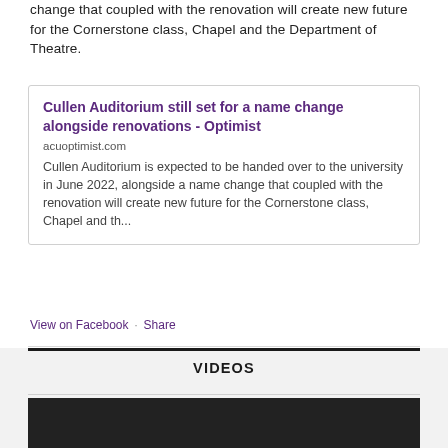change that coupled with the renovation will create new future for the Cornerstone class, Chapel and the Department of Theatre.
Cullen Auditorium still set for a name change alongside renovations - Optimist
acuoptimist.com
Cullen Auditorium is expected to be handed over to the university in June 2022, alongside a name change that coupled with the renovation will create new future for the Cornerstone class, Chapel and th...
View on Facebook · Share
VIDEOS
[Figure (photo): Dark/black thumbnail image at the bottom of the page]